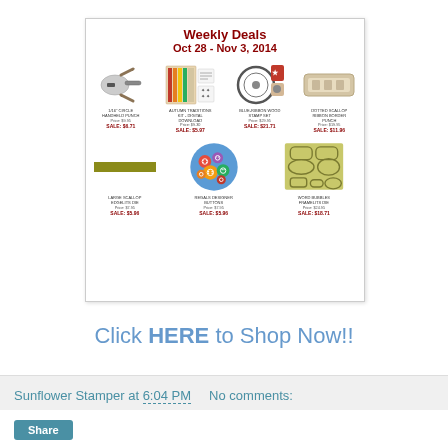[Figure (infographic): Weekly Deals advertisement for Stampin' Up products, Oct 28 - Nov 3, 2014. Shows 7 products: 1/16" Circle Handheld Punch SALE: $6.71, Autumn Traditions Kit - Digital Download SALE: $5.97, Blue-Ribbon Wood Stamp Set SALE: $21.71, Dotted Scallop Ribbon Border Punch SALE: $11.96, Large Scallop Edgelits Die SALE: $5.96, Regals Designer Buttons SALE: $5.96, Word Bubbles Framelits Die SALE: $18.71]
Click HERE to Shop Now!!
Sunflower Stamper at 6:04 PM    No comments: